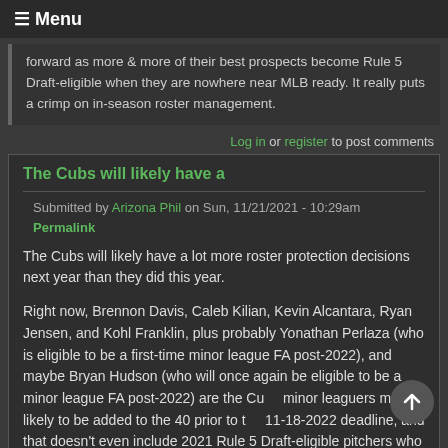≡ Menu
forward as more & more of their best prospects become Rule 5 Draft-eligible when they are nowhere near MLB ready. It really puts a crimp on in-season roster management.
Log in or register to post comments
The Cubs will likely have a
Submitted by Arizona Phil on Sun, 11/21/2021 - 10:29am
Permalink
The Cubs will likely have a lot more roster protection decisions next year than they did this year.

Right now, Brennon Davis, Caleb Kilian, Kevin Alcantara, Ryan Jensen, and Kohl Franklin, plus probably Yonathan Perlaza (who is eligible to be a first-time minor league FA post-2022), and maybe Bryan Hudson (who will once again be eligible to be a minor league FA post-2022) are the Cubs minor leaguers most-likely to be added to the 40 prior to the 11-18-2022 deadline, and that doesn't even include 2021 Rule 5 Draft-eligible pitchers who were injured in 2021, like